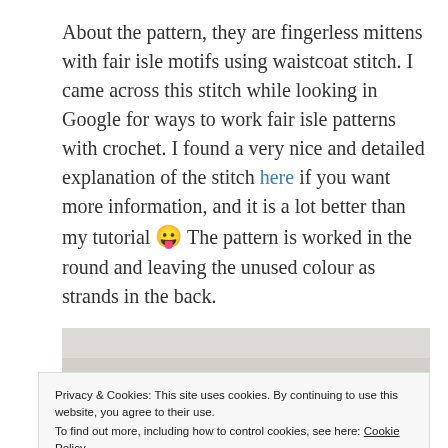About the pattern, they are fingerless mittens with fair isle motifs using waistcoat stitch. I came across this stitch while looking in Google for ways to work fair isle patterns with crochet. I found a very nice and detailed explanation of the stitch here if you want more information, and it is a lot better than my tutorial 😛 The pattern is worked in the round and leaving the unused colour as strands in the back.
[Figure (photo): Partially visible photograph of fingerless mittens with fair isle crochet pattern, cropped by a cookie consent banner overlay.]
Privacy & Cookies: This site uses cookies. By continuing to use this website, you agree to their use.
To find out more, including how to control cookies, see here: Cookie Policy
[Close and accept]